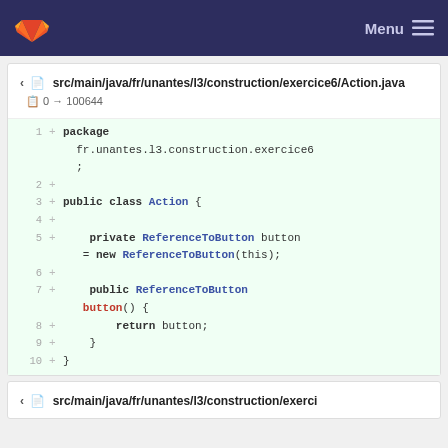GitLab — Menu
src/main/java/fr/unantes/l3/construction/exercice6/Action.java  0 → 100644
[Figure (screenshot): Code diff viewer showing Java file Action.java with 10 lines of added code including package declaration, public class Action with a private ReferenceToButton field and a public button() getter method.]
src/main/java/fr/unantes/l3/construction/exerci